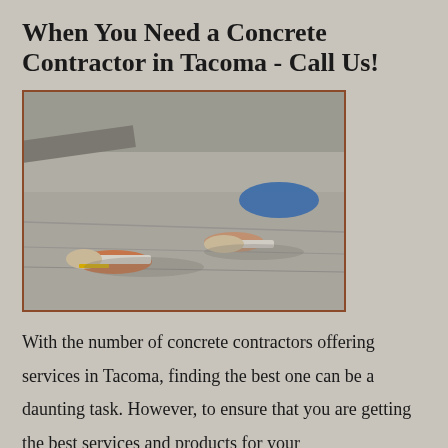When You Need a Concrete Contractor in Tacoma - Call Us!
[Figure (photo): Two workers smoothing wet concrete with trowels, wearing work gloves]
With the number of concrete contractors offering services in Tacoma, finding the best one can be a daunting task. However, to ensure that you are getting the best services and products for your